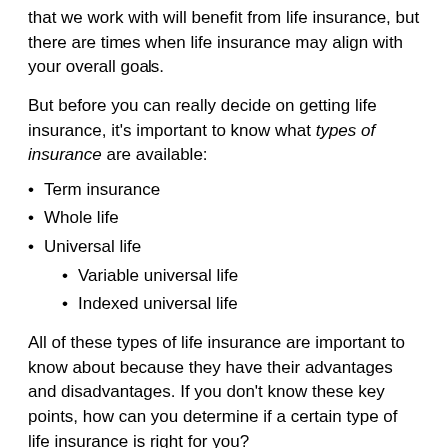that we work with will benefit from life insurance, but there are times when life insurance may align with your overall goals.
But before you can really decide on getting life insurance, it's important to know what types of insurance are available:
Term insurance
Whole life
Universal life
Variable universal life
Indexed universal life
All of these types of life insurance are important to know about because they have their advantages and disadvantages. If you don't know these key points, how can you determine if a certain type of life insurance is right for you?